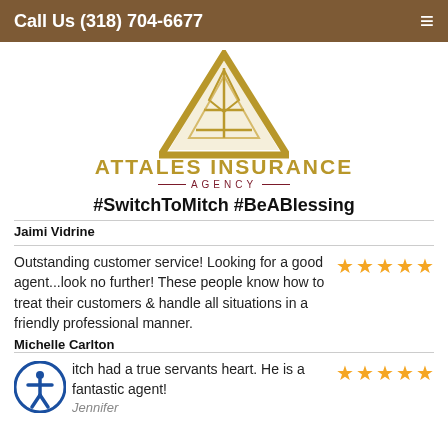Call Us (318) 704-6677
[Figure (logo): Attales Insurance Agency logo with gold triangle and company name]
#SwitchToMitch #BeABlessing
Jaimi Vidrine
Outstanding customer service! Looking for a good agent...look no further! These people know how to treat their customers & handle all situations in a friendly professional manner.
Michelle Carlton
Mitch had a true servants heart. He is a fantastic agent!
Jennifer